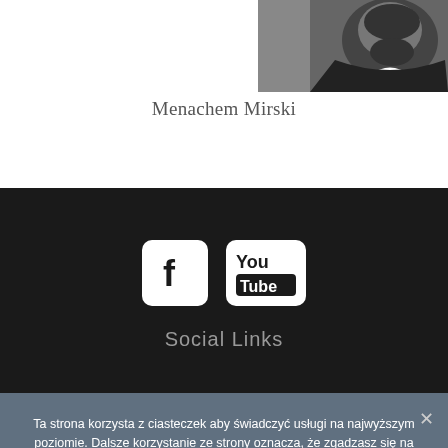[Figure (photo): Portrait photo of a bearded man in dark suit with white shirt, cropped to show upper torso and face]
Menachem Mirski
[Figure (illustration): Facebook and YouTube social media icons displayed in white on dark background]
Social Links
Ta strona korzysta z ciasteczek aby świadczyć usługi na najwyższym poziomie. Dalsze korzystanie ze strony oznacza, że zgadzasz się na ich użycie.
Zgoda
Nie wyrażam zgody